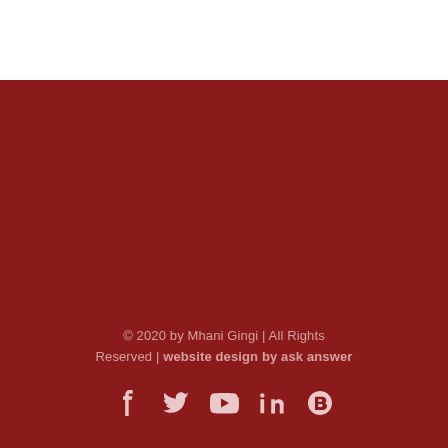© 2020 by Mhani Gingi | All Rights Reserved | website design by ask answer
[Figure (other): Social media icons row: Facebook, Twitter, YouTube, LinkedIn, Blogger]